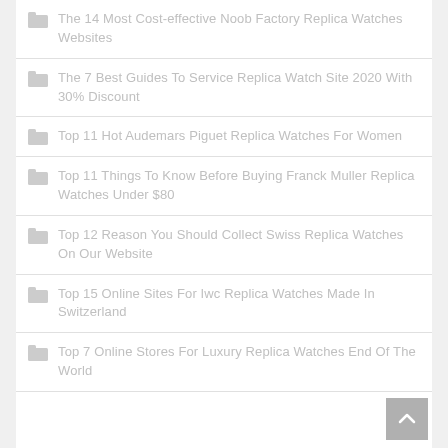The 14 Most Cost-effective Noob Factory Replica Watches Websites
The 7 Best Guides To Service Replica Watch Site 2020 With 30% Discount
Top 11 Hot Audemars Piguet Replica Watches For Women
Top 11 Things To Know Before Buying Franck Muller Replica Watches Under $80
Top 12 Reason You Should Collect Swiss Replica Watches On Our Website
Top 15 Online Sites For Iwc Replica Watches Made In Switzerland
Top 7 Online Stores For Luxury Replica Watches End Of The World